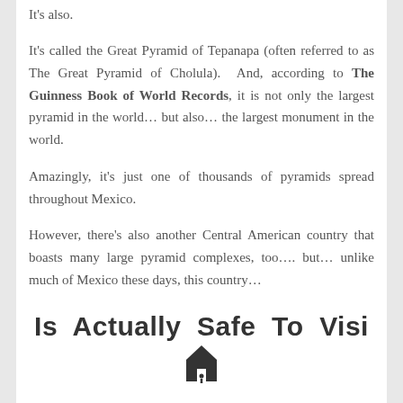It's called the Great Pyramid of Tepanapa (often referred to as The Great Pyramid of Cholula).  And, according to The Guinness Book of World Records, it is not only the largest pyramid in the world… but also… the largest monument in the world.
Amazingly, it's just one of thousands of pyramids spread throughout Mexico.
However, there's also another Central American country that boasts many large pyramid complexes, too…. but… unlike much of Mexico these days, this country…
Is Actually Safe To Visit
Further, not only is it safe to visit, but English is the official language.  And still further, it's just a short 2 1/2